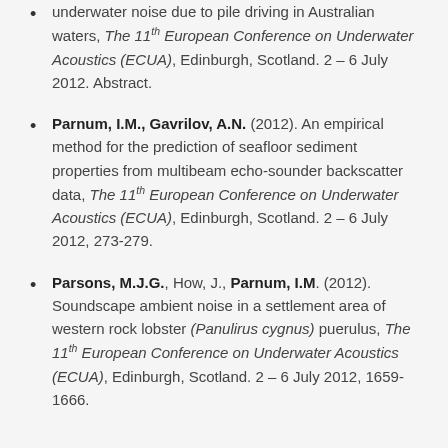underwater noise due to pile driving in Australian waters, The 11th European Conference on Underwater Acoustics (ECUA), Edinburgh, Scotland. 2 – 6 July 2012. Abstract.
Parnum, I.M., Gavrilov, A.N. (2012). An empirical method for the prediction of seafloor sediment properties from multibeam echo-sounder backscatter data, The 11th European Conference on Underwater Acoustics (ECUA), Edinburgh, Scotland. 2 – 6 July 2012, 273-279.
Parsons, M.J.G., How, J., Parnum, I.M. (2012). Soundscape ambient noise in a settlement area of western rock lobster (Panulirus cygnus) puerulus, The 11th European Conference on Underwater Acoustics (ECUA), Edinburgh, Scotland. 2 – 6 July 2012, 1659-1666.